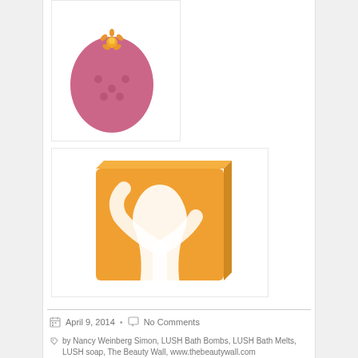[Figure (photo): Pink egg-shaped bath bomb with yellow flower decoration and textured dimpled surface, on white background]
[Figure (photo): Orange square bar of soap with white Y-shaped or tree-branch pattern through the center, on white background]
April 9, 2014  •  No Comments
by Nancy Weinberg Simon, LUSH Bath Bombs, LUSH Bath Melts, LUSH soap, The Beauty Wall, www.thebeautywall.com